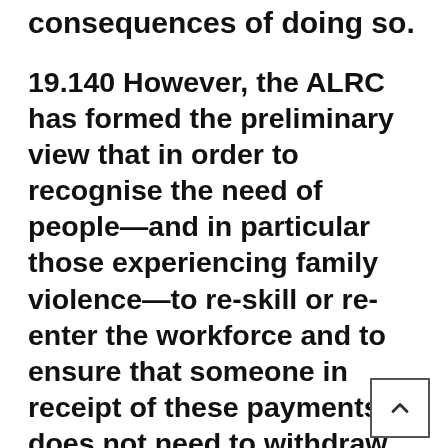consequences of doing so.
19.140 However, the ALRC has formed the preliminary view that in order to recognise the need of people—and in particular those experiencing family violence—to re-skill or re-enter the workforce and to ensure that someone in receipt of these payments does not need to withdraw from study in order to qualify for a different form of income support, the SIS Regulations may need be amended so as not to preclude an applicant, who may otherwise be able to satisfy the